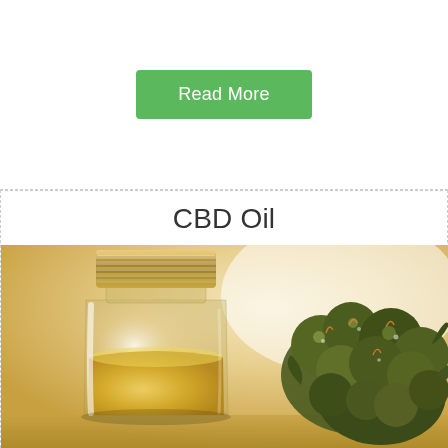Read More
CBD Oil
[Figure (photo): A glass jar filled with golden CBD oil with a ribbed metal lid, next to dried cannabis buds on a warm beige background]